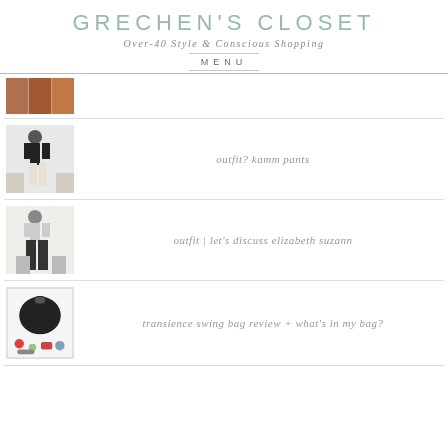GRECHEN'S CLOSET
Over-40 Style & Conscious Shopping
MENU
[Figure (photo): Thumbnail image of brown/rust colored items]
[Figure (photo): Photo of person in black top and white pants]
outfit? kamm pants
[Figure (photo): Photo of person in wide-leg pants near shelves]
outfit | let's discuss elizabeth suzann
[Figure (photo): Photo of black bag with small items scattered around]
transience swing bag review + what's in my bag?